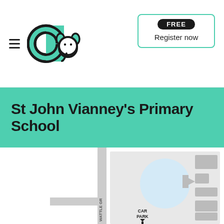CA logo with hamburger menu and Register now button (FREE badge)
St John Vianney's Primary School
[Figure (map): School location map showing Wattle Gr street and school grounds with car park, buildings, and a circular play area]